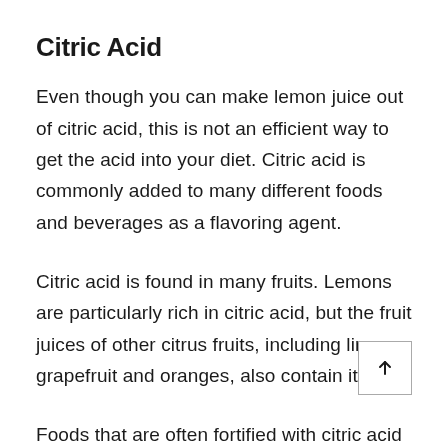Citric Acid
Even though you can make lemon juice out of citric acid, this is not an efficient way to get the acid into your diet. Citric acid is commonly added to many different foods and beverages as a flavoring agent.
Citric acid is found in many fruits. Lemons are particularly rich in citric acid, but the fruit juices of other citrus fruits, including limes, grapefruit and oranges, also contain it.
Foods that are often fortified with citric acid for